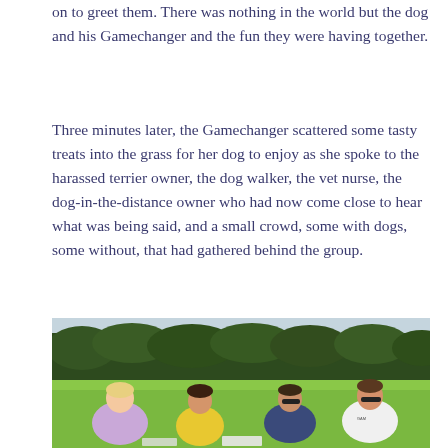on to greet them. There was nothing in the world but the dog and his Gamechanger and the fun they were having together.
Three minutes later, the Gamechanger scattered some tasty treats into the grass for her dog to enjoy as she spoke to the harassed terrier owner, the dog walker, the vet nurse, the dog-in-the-distance owner who had now come close to hear what was being said, and a small crowd, some with dogs, some without, that had gathered behind the group.
[Figure (photo): Four women sitting on grass in a circle on a lawn, with a dense green hedge behind them. They appear to be in discussion, some holding papers. One wears a white t-shirt with text, one wears yellow, one wears purple/navy, one wears a light purple/lavender hoodie.]